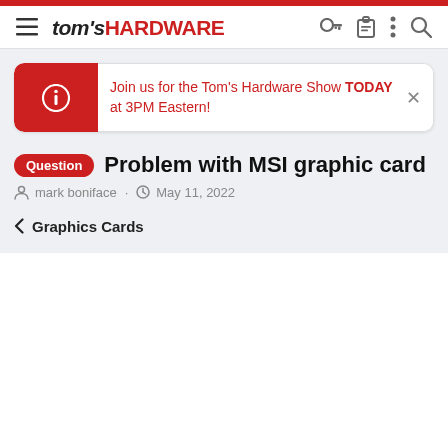tom's HARDWARE
Join us for the Tom's Hardware Show TODAY at 3PM Eastern!
Question Problem with MSI graphic card
mark boniface · May 11, 2022
< Graphics Cards